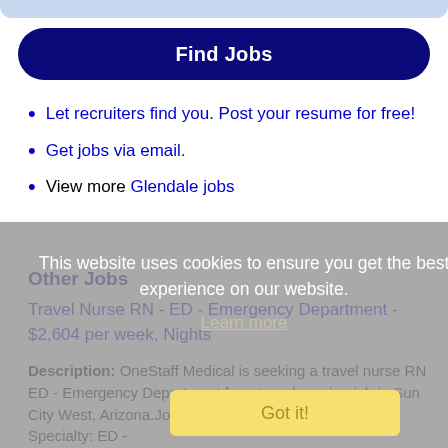[Figure (other): Top decorative blue bar/header strip]
Find Jobs
Let recruiters find you. Post your resume for free!
Get jobs via email.
View more Glendale jobs
Other Jobs
Travel Nurse RN - ED - Emergency Department - $2,604 per week, Nights
Description: OneStaff Medical is seeking a travel nurse RN ED - Emergency Department for a travel nursing job in Sun City West, Arizona.Job Description Requirements ul li Specialty: ED -
This website uses cookies to ensure you get the best experience on our website. Learn more
Got it!